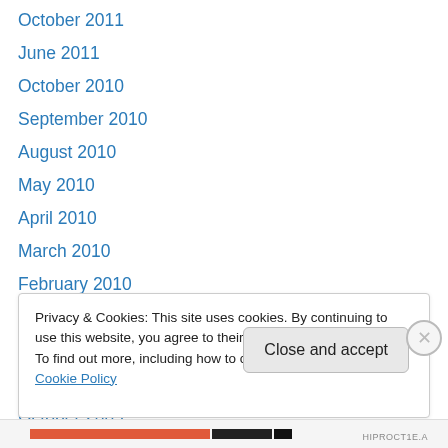October 2011
June 2011
October 2010
September 2010
August 2010
May 2010
April 2010
March 2010
February 2010
January 2010
December 2009
November 2009
October 2009
Privacy & Cookies: This site uses cookies. By continuing to use this website, you agree to their use.
To find out more, including how to control cookies, see here: Cookie Policy
Close and accept